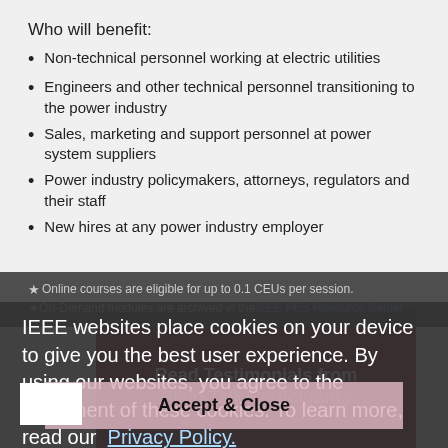Who will benefit:
Non-technical personnel working at electric utilities
Engineers and other technical personnel transitioning to the power industry
Sales, marketing and support personnel at power system suppliers
Power industry policymakers, attorneys, regulators and their staff
New hires at any power industry employer
★ Online courses are eligible for up to 0.1 CEUs per session.
★ On-Demand modules are archived in the IEEE PES Resource Center
IEEE websites place cookies on your device to give you the best user experience. By using our websites, you agree to the placement of these cookies. To learn more, read our Privacy Policy.
[Figure (screenshot): Cookie consent overlay with Accept & Close button and partially visible red banner with text 'Read Testimonials from Plain Talk Participants']